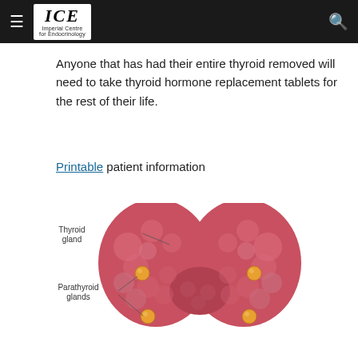ICE Imperial Centre for Endocrinology
Anyone that has had their entire thyroid removed will need to take thyroid hormone replacement tablets for the rest of their life.
Printable patient information
[Figure (illustration): Medical illustration of the thyroid gland and parathyroid glands. The thyroid gland is shown as a large reddish-pink lobular structure with a butterfly/shield shape. Four small orange-yellow spheres represent the parathyroid glands, two on each side. Labels indicate 'Thyroid gland' (upper left) with a line pointing to the top lobe, and 'Parathyroid glands' (lower left) with lines pointing to the orange nodules.]